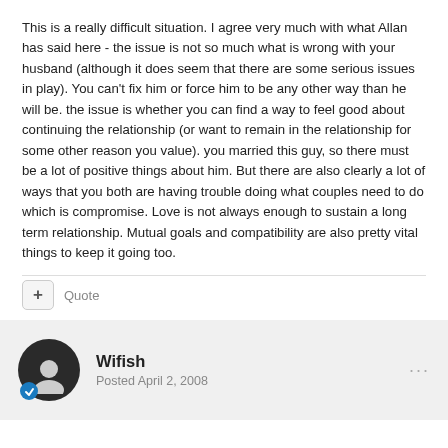This is a really difficult situation. I agree very much with what Allan has said here - the issue is not so much what is wrong with your husband (although it does seem that there are some serious issues in play). You can't fix him or force him to be any other way than he will be. the issue is whether you can find a way to feel good about continuing the relationship (or want to remain in the relationship for some other reason you value). you married this guy, so there must be a lot of positive things about him. But there are also clearly a lot of ways that you both are having trouble doing what couples need to do which is compromise. Love is not always enough to sustain a long term relationship. Mutual goals and compatibility are also pretty vital things to keep it going too.
Quote
Wifish
Posted April 2, 2008